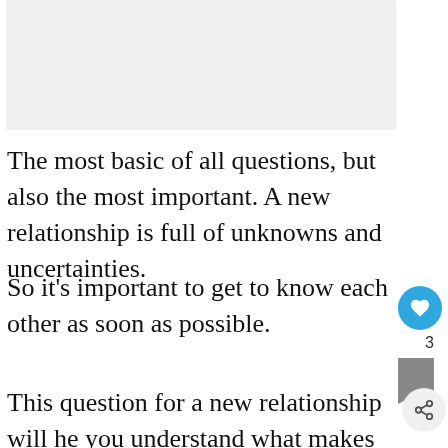[Figure (other): Light gray placeholder image area at top of page]
The most basic of all questions, but also the most important. A new relationship is full of unknowns and uncertainties.
So it’s important to get to know each other as soon as possible.
This question for a new relationship will he you understand what makes each other tick